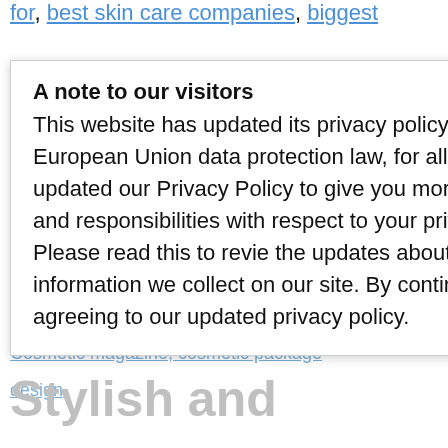for, best skin care companies, biggest
beauty companies, biggest cosmetic
A note to our visitors
This website has updated its privacy policy in compliance with changes to European Union data protection law, for all members globally. We've also updated our Privacy Policy to give you more information about your rights and responsibilities with respect to your privacy and personal information. Please read this to review the updates about which cookies we use and what information we collect on our site. By continuing to use this site, you are agreeing to our updated privacy policy.
I agree
Stylish and